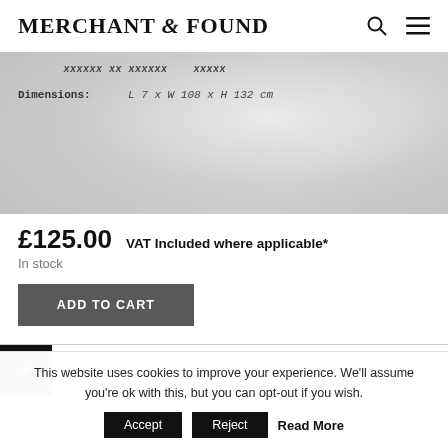MERCHANT & FOUND
[Figure (photo): Product image showing white fabric/textile, with specs overlay showing partial text and Dimensions: L 7 x W 108 x H 132 cm]
£125.00  VAT Included where applicable*
In stock
ADD TO CART
U: 884.9
This website uses cookies to improve your experience. We'll assume you're ok with this, but you can opt-out if you wish.
Accept  Reject  Read More